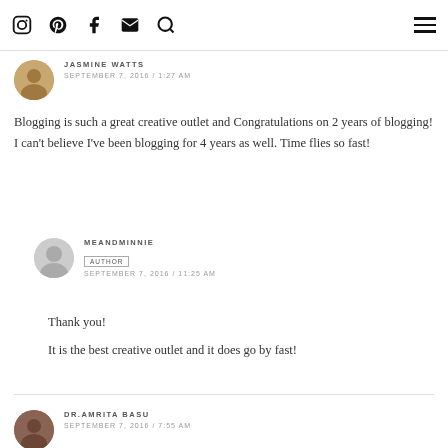Icons: Instagram, Pinterest, Facebook, Email, Search, Hamburger menu
JASMINE WATTS
SEPTEMBER 7, 2016 / 1:27 AM
Blogging is such a great creative outlet and Congratulations on 2 years of blogging! I can't believe I've been blogging for 4 years as well. Time flies so fast!
MEANDMINNIE
AUTHOR
SEPTEMBER 7, 2016 / 11:25 AM
Thank you!
It is the best creative outlet and it does go by fast!
DR.AMRITA BASU
SEPTEMBER 7, 2016 / 7:55 AM